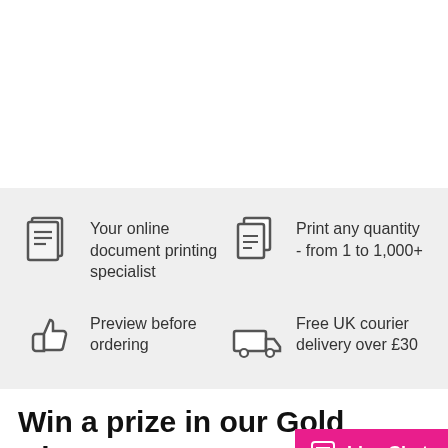[Figure (illustration): White empty top section of webpage]
Your online document printing specialist
Print any quantity - from 1 to 1,000+
Preview before ordering
Free UK courier delivery over £30
Win a prize in our Gold... Giveaway
[Figure (other): Live Chat button overlay in pink/magenta]